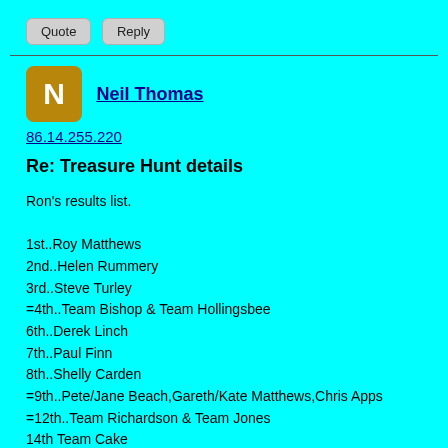Quote   Reply
Neil Thomas
86.14.255.220
Re: Treasure Hunt details
Ron's results list.

1st..Roy Matthews
2nd..Helen Rummery
3rd..Steve Turley
=4th..Team Bishop & Team Hollingsbee
6th..Derek Linch
7th..Paul Finn
8th..Shelly Carden
=9th..Pete/Jane Beach,Gareth/Kate Matthews,Chris Apps
=12th..Team Richardson & Team Jones
14th Team Cake
=15th..Team GM & Dean Webster
17th  Team Holman